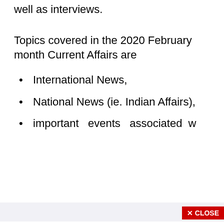well as interviews.
Topics covered in the 2020 February month Current Affairs are
International News,
National News (ie. Indian Affairs),
important events associated w